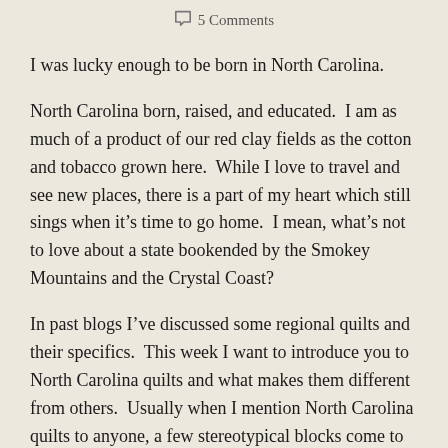5 Comments
I was lucky enough to be born in North Carolina.
North Carolina born, raised, and educated.  I am as much of a product of our red clay fields as the cotton and tobacco grown here.  While I love to travel and see new places, there is a part of my heart which still sings when it’s time to go home.  I mean, what’s not to love about a state bookended by the Smokey Mountains and the Crystal Coast?
In past blogs I’ve discussed some regional quilts and their specifics.  This week I want to introduce you to North Carolina quilts and what makes them different from others.  Usually when I mention North Carolina quilts to anyone, a few stereotypical blocks come to mind, Carolina Lily (which first appeared in 1800s and…